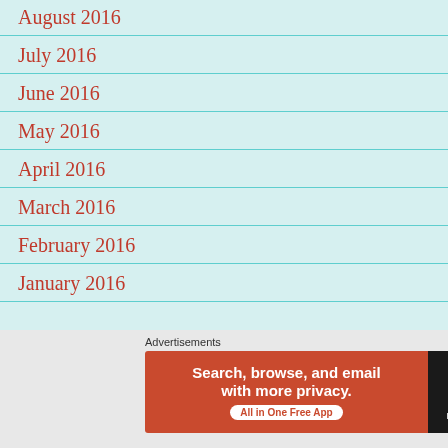August 2016
July 2016
June 2016
May 2016
April 2016
March 2016
February 2016
January 2016
[Figure (screenshot): DuckDuckGo advertisement banner: 'Search, browse, and email with more privacy. All in One Free App' with DuckDuckGo logo on dark background]